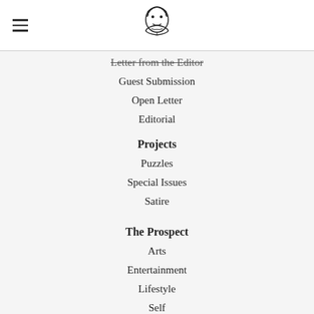[Figure (logo): Publication logo/mascot illustration in header]
Letter from the Editor
Guest Submission
Open Letter
Editorial
Projects
Puzzles
Special Issues
Satire
The Prospect
Arts
Entertainment
Lifestyle
Self
Features
Multimedia
Video
Podcast
Visual Essays
Special